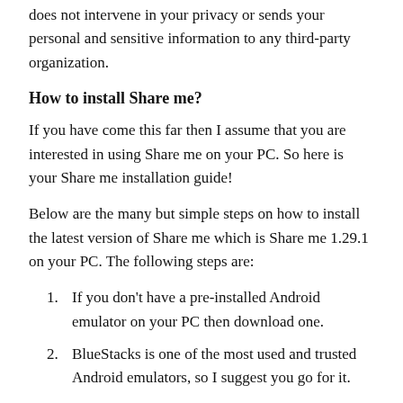does not intervene in your privacy or sends your personal and sensitive information to any third-party organization.
How to install Share me?
If you have come this far then I assume that you are interested in using Share me on your PC. So here is your Share me installation guide!
Below are the many but simple steps on how to install the latest version of Share me which is Share me 1.29.1 on your PC. The following steps are:
If you don't have a pre-installed Android emulator on your PC then download one.
BlueStacks is one of the most used and trusted Android emulators, so I suggest you go for it.